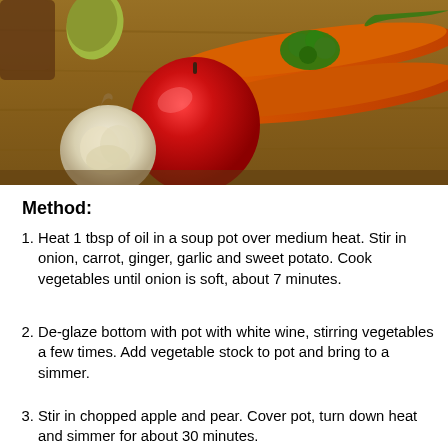[Figure (photo): Photograph of fresh vegetables and fruit on a wooden cutting board: garlic bulb, red apple, pear, fresh herbs (cilantro/parsley), and two large carrots.]
Method:
Heat 1 tbsp of oil in a soup pot over medium heat. Stir in onion, carrot, ginger, garlic and sweet potato. Cook vegetables until onion is soft, about 7 minutes.
De-glaze bottom with pot with white wine, stirring vegetables a few times. Add vegetable stock to pot and bring to a simmer.
Stir in chopped apple and pear. Cover pot, turn down heat and simmer for about 30 minutes.
Move while on heat if possible, and mixing slowly it...